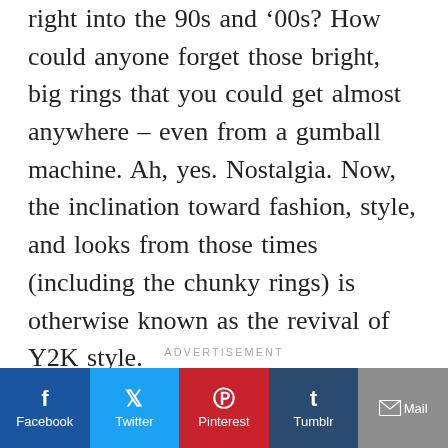right into the 90s and ’00s? How could anyone forget those bright, big rings that you could get almost anywhere – even from a gumball machine. Ah, yes. Nostalgia. Now, the inclination toward fashion, style, and looks from those times (including the chunky rings) is otherwise known as the revival of Y2K style.
ADVERTISEMENT
Facebook | Twitter | Pinterest | Tumblr | Mail